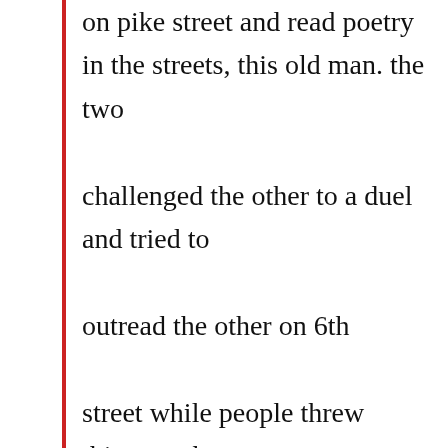on pike street and read poetry in the streets, this old man. the two challenged the other to a duel and tried to outread the other on 6th street while people threw things at them from windows above to try to shut them up and they went on for hours till finally it was a draw.

jorge started training bimbo by sitting in a bathtub through two months of summer while bimbo was